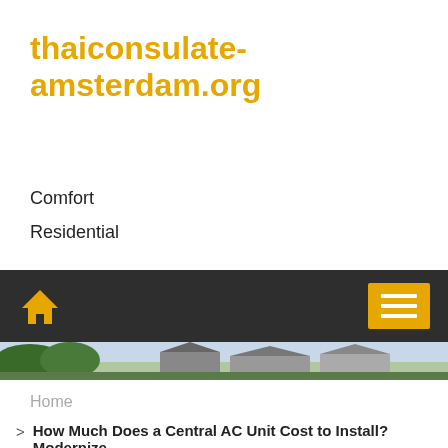thaiconsulate-amsterdam.org
Comfort
Residential
[Figure (screenshot): Dark navigation bar with a yellow home icon on the left and a yellow hamburger menu button on the right, followed by a partial hero image strip showing rooftops and sky.]
Home
> How Much Does a Central AC Unit Cost to Install? Modernize